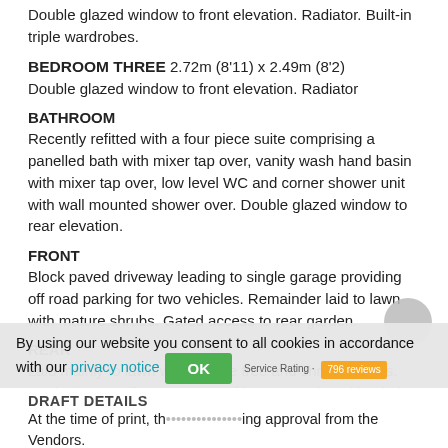Double glazed window to front elevation. Radiator. Built-in triple wardrobes.
BEDROOM THREE 2.72m (8'11) x 2.49m (8'2)
Double glazed window to front elevation. Radiator
BATHROOM
Recently refitted with a four piece suite comprising a panelled bath with mixer tap over, vanity wash hand basin with mixer tap over, low level WC and corner shower unit with wall mounted shower over. Double glazed window to rear elevation.
FRONT
Block paved driveway leading to single garage providing off road parking for two vehicles. Remainder laid to lawn with mature shrubs. Gated access to rear garden.
REAR
Laid mainly to lawn with mature tree and shrub borders. Decked area adjacent to rear of house. Enclosed by timber panel fencing. Gated rear access.
DRAFT DETAILS
At the time of print, th... ing approval from the Vendors.
By using our website you consent to all cookies in accordance with our privacy notice OK